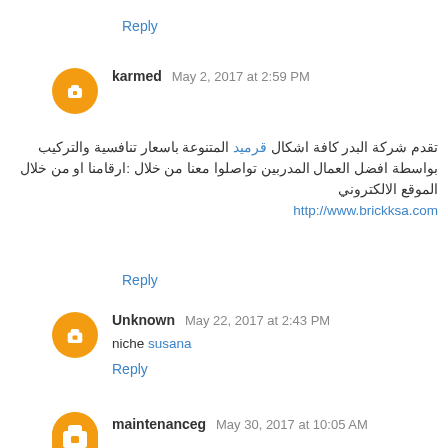Reply
karmed  May 2, 2017 at 2:59 PM
تقدم شركة البدر كافة اشكال قرميد المتنوعة باسعار تنافسية والتركيب بواسطة افضل العمال المدربين تواصلوا معنا من خلال ارقامنا او من خلال الموقع الالكتروني: http://www.brickksa.com
Reply
Unknown  May 22, 2017 at 2:43 PM
niche susana
Reply
maintenanceg  May 30, 2017 at 10:05 AM